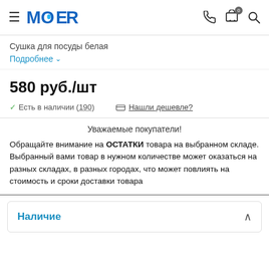MOER — navigation header with logo, phone, cart (0), search
Сушка для посуды белая
Подробнее ∨
580 руб./шт
✓ Есть в наличии (190)    Нашли дешевле?
Уважаемые покупатели!
Обращайте внимание на ОСТАТКИ товара на выбранном складе.
Выбранный вами товар в нужном количестве может оказаться на разных складах, в разных городах, что может повлиять на стоимость и сроки доставки товара
Наличие